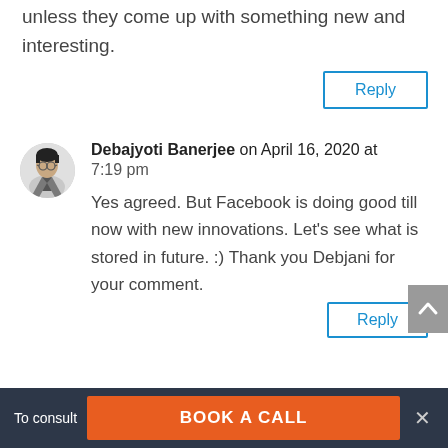unless they come up with something new and interesting.
Reply
Debajyoti Banerjee on April 16, 2020 at 7:19 pm
Yes agreed. But Facebook is doing good till now with new innovations. Let's see what is stored in future. :) Thank you Debjani for your comment.
Reply
To consult   BOOK A CALL   ×